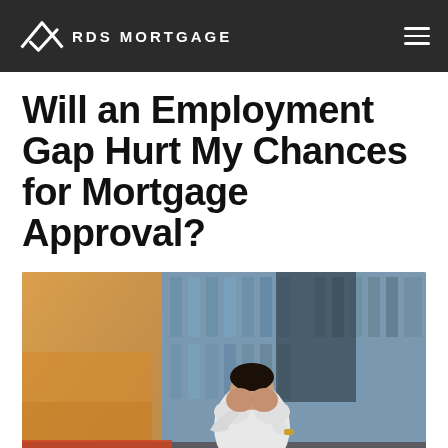RDS MORTGAGE
Will an Employment Gap Hurt My Chances for Mortgage Approval?
[Figure (photo): A man in a white dress shirt sitting on outdoor steps with his head in his hands, appearing stressed or distressed, with a bag beside him and a building with glass facades in the background.]